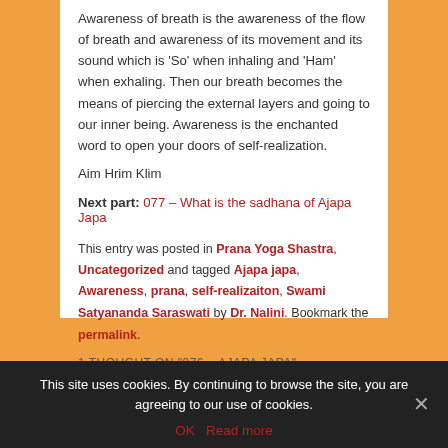Awareness of breath is the awareness of the flow of breath and awareness of its movement and its sound which is ‘So’ when inhaling and ‘Ham’ when exhaling. Then our breath becomes the means of piercing the external layers and going to our inner being. Awareness is the enchanted word to open your doors of self-realization.
Aim Hrim Klim
Next part: 077 – What is the sadhana of Ajapa Japa
This entry was posted in Prana Yoga Shastra, Uncategorized and tagged Ajapa japa, Awareness, prana, self-realizaiton, Swami Satyananda Saraswati by Dr. Nalini. Bookmark the permalink.
1 THOUGHT ON “076 – AJAPA JAPA”
This site uses cookies. By continuing to browse the site, you are agreeing to our use of cookies.
OK   Read more